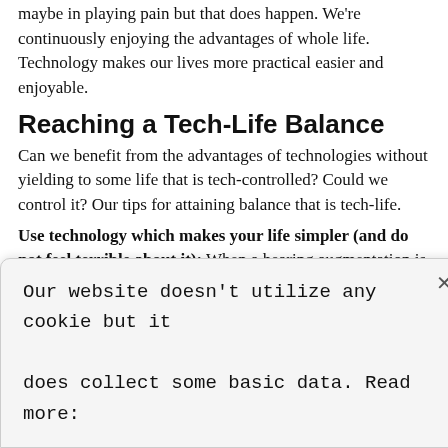maybe in paying pain but that does happen. We're continuously enjoying the advantages of whole life. Technology makes our lives more practical easier and enjoyable.
Reaching a Tech-Life Balance
Can we benefit from the advantages of technologies without yielding to some life that is tech-controlled? Could we control it? Our tips for attaining balance that is tech-life.
Use technology which makes your life simpler (and do not feel terrible about it): When a hearing augmentation is an ideal choice for you, observe how you reside in an era when this tech is accessible. Make the most of it!
Restrict times when people are able to contact you: Decrease the unhealthy characteristics of multitasking by devoting only certain hours of the
Our website doesn't utilize any cookie but it does collect some basic data. Read more: